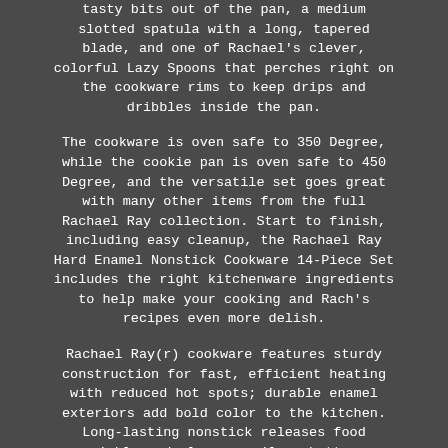tasty bits out of the pan, a medium slotted spatula with a long, tapered blade, and one of Rachael's clever, colorful Lazy Spoons that perches right on the cookware rims to keep drips and dribbles inside the pan.
The cookware is oven safe to 350 Degree, while the cookie pan is oven safe to 450 Degree, and the versatile set goes great with many other items from the full Rachael Ray collection. Start to finish, including easy cleanup, the Rachael Ray Hard Enamel Nonstick Cookware 14-Piece Set includes the right kitchenware ingredients to help make your cooking and Rach's recipes even more delish.
Rachael Ray(r) cookware features sturdy construction for fast, efficient heating with reduced hot spots; durable enamel exteriors add bold color to the kitchen. Long-lasting nonstick releases food quickly and cleans easily; shatter-resistant glass lids seal in heat and moisture while cooking remains visible. Includes Oven Lovin'(r) Crispy Pan nonstick cookie sheet with colorful silicone handle grips, perfect for